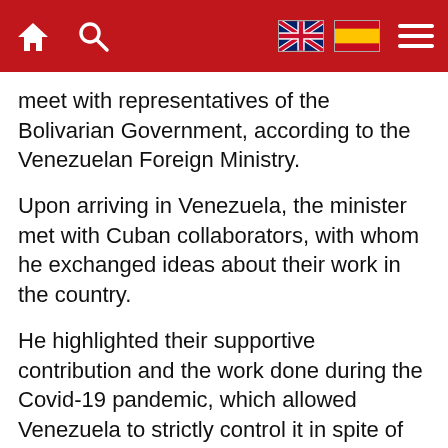[navigation bar with home icon, search icon, UK flag, Spain flag, hamburger menu]
meet with representatives of the Bolivarian Government, according to the Venezuelan Foreign Ministry.
Upon arriving in Venezuela, the minister met with Cuban collaborators, with whom he exchanged ideas about their work in the country.
He highlighted their supportive contribution and the work done during the Covid-19 pandemic, which allowed Venezuela to strictly control it in spite of the United States blockade, which was tightened against both nations.
He visited areas of the Dr. Salvador Allende Integral Healthcare Center in Chuao, a metropolitan district of the State of